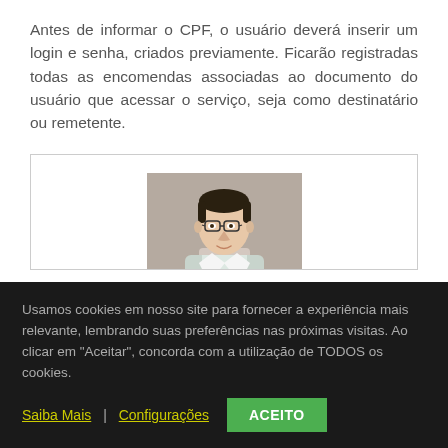Antes de informar o CPF, o usuário deverá inserir um login e senha, criados previamente. Ficarão registradas todas as encomendas associadas ao documento do usuário que acessar o serviço, seja como destinatário ou remetente.
[Figure (photo): Photo of a young man wearing glasses and a polo shirt, shown from shoulders up, light gray background]
Usamos cookies em nosso site para fornecer a experiência mais relevante, lembrando suas preferências nas próximas visitas. Ao clicar em "Aceitar", concorda com a utilização de TODOS os cookies.
Saiba Mais | Configurações ACEITO